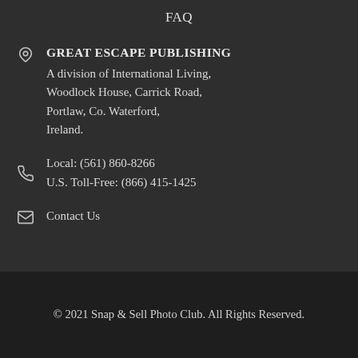FAQ
GREAT ESCAPE PUBLISHING
A division of International Living, Woodlock House, Carrick Road, Portlaw, Co. Waterford, Ireland.
Local: (561) 860-8266
U.S. Toll-Free: (866) 415-1425
Contact Us
© 2021 Snap & Sell Photo Club. All Rights Reserved.